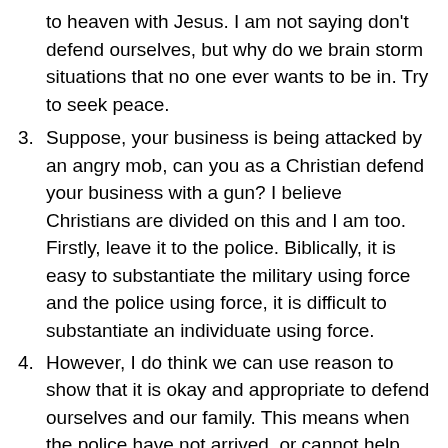(continuation) to heaven with Jesus. I am not saying don't defend ourselves, but why do we brain storm situations that no one ever wants to be in. Try to seek peace.
3. Suppose, your business is being attacked by an angry mob, can you as a Christian defend your business with a gun? I believe Christians are divided on this and I am too. Firstly, leave it to the police. Biblically, it is easy to substantiate the military using force and the police using force, it is difficult to substantiate an individuate using force.
4. However, I do think we can use reason to show that it is okay and appropriate to defend ourselves and our family. This means when the police have not arrived, or cannot help, we are forced to do what we can to protect ourselves and our property. But, if it is a mob we may not get far and it would probably be wiser to